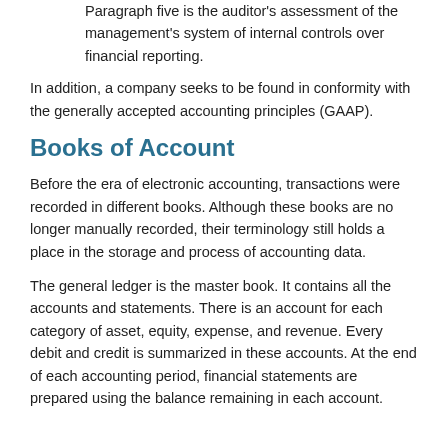Paragraph five is the auditor’s assessment of the management's system of internal controls over financial reporting.
In addition, a company seeks to be found in conformity with the generally accepted accounting principles (GAAP).
Books of Account
Before the era of electronic accounting, transactions were recorded in different books. Although these books are no longer manually recorded, their terminology still holds a place in the storage and process of accounting data.
The general ledger is the master book. It contains all the accounts and statements. There is an account for each category of asset, equity, expense, and revenue. Every debit and credit is summarized in these accounts. At the end of each accounting period, financial statements are prepared using the balance remaining in each account.